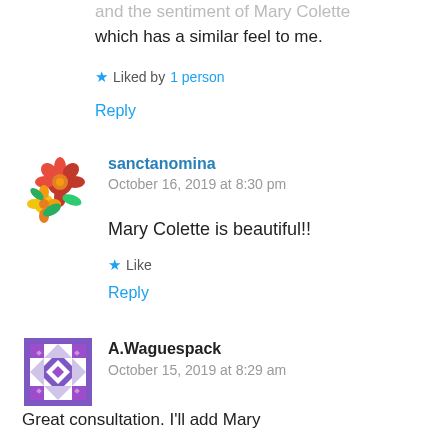which has a similar feel to me.
Liked by 1 person
Reply
[Figure (illustration): Floral bouquet avatar image with red and yellow flowers]
sanctanomina
October 16, 2019 at 8:30 pm
Mary Colette is beautiful!!
Like
Reply
[Figure (illustration): Purple and white quilt pattern geometric avatar]
A.Waguespack
October 15, 2019 at 8:29 am
Great consultation. I'll add Mary